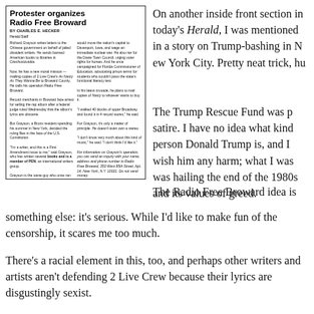[Figure (other): Newspaper clipping titled 'Protester organizes Radio Free Broward' by Charles E. Hecker, Herald Staff, with two-column body text about Richard Grayson mailing copies of 2 Live Crew album to Broward County.]
On another inside front section in today's Herald, I was mentioned in a story on Trump-bashing in New York City. Pretty neat trick, hu
The Trump Rescue Fund was p satire. I have no idea what kind of person Donald Trump is, and I don't wish him any harm; what I was hailing the end of the 1980s and its values of greed.
The Radio Free Broward idea is something else: it's serious. While I'd like to make fun of the censorship, it scares me too much.
There's a racial element in this, too, and perhaps other writers and artists aren't defending 2 Live Crew because their lyrics are disgustingly sexist.